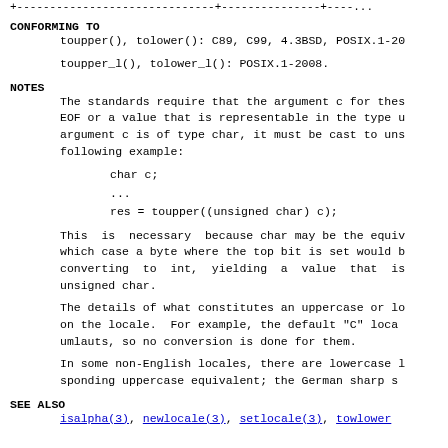+-------------------------------+--------------+----
CONFORMING TO
toupper(), tolower(): C89, C99, 4.3BSD, POSIX.1-20
toupper_l(), tolower_l(): POSIX.1-2008.
NOTES
The standards require that the argument c for thes EOF or a value that is representable in the type u argument c is of type char, it must be cast to uns following example:
This is necessary because char may be the equi which case a byte where the top bit is set would b converting to int, yielding a value that i unsigned char.
The details of what constitutes an uppercase or lo on the locale. For example, the default "C" loca umlauts, so no conversion is done for them.
In some non-English locales, there are lowercase l sponding uppercase equivalent; the German sharp s
SEE ALSO
isalpha(3), newlocale(3), setlocale(3), towlower